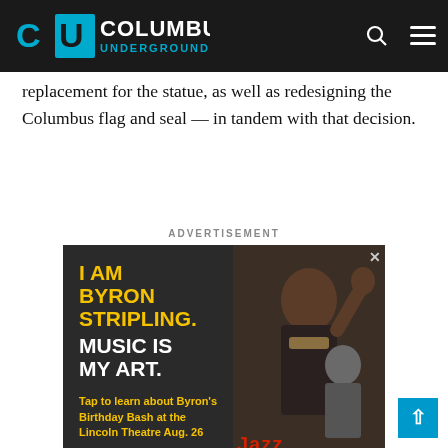Columbus Underground
replacement for the statue, as well as redesigning the Columbus flag and seal — in tandem with that decision.
ADVERTISEMENT
[Figure (photo): Advertisement for Byron Stripling's Birthday Bash at the Lincoln Theatre Aug. 26. Dark background with yellow and white bold text on left: 'I AM BYRON STRIPLING. MUSIC IS MY ART.' with yellow subtext 'Tap to learn about Byron's Birthday Bash at the Lincoln Theatre Aug. 26'. Right side shows a man playing trumpet.]